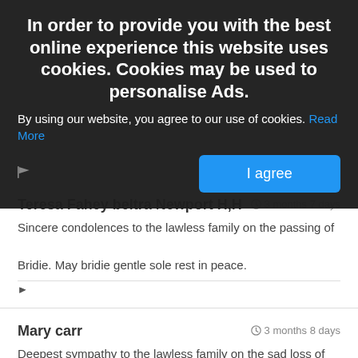[Figure (screenshot): Cookie consent banner overlay on a dark semi-transparent background with bold white heading, body text, blue 'Read More' link, and a blue 'I agree' button]
Teresa Fahey beltra Newport H,H
3 months 7 days
Sincere condolences to the lawless family on the passing of Bridie. May bridie gentle sole rest in peace.
Mary carr
3 months 8 days
Deepest sympathy to the lawless family on the sad loss of your beloved Bridie